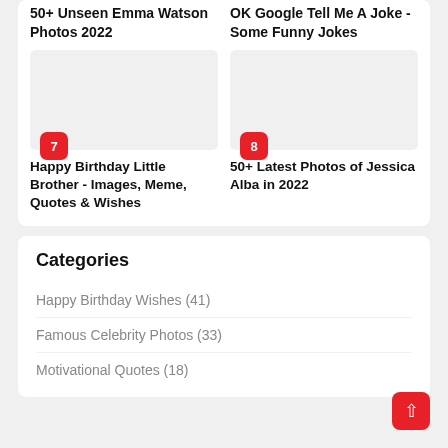50+ Unseen Emma Watson Photos 2022
OK Google Tell Me A Joke - Some Funny Jokes
[Figure (illustration): Thumbnail placeholder image for article 7]
[Figure (illustration): Thumbnail placeholder image for article 8]
Happy Birthday Little Brother - Images, Meme, Quotes & Wishes
50+ Latest Photos of Jessica Alba in 2022
Categories
Happy Birthday Wishes  (41)
Famous Celebrity Photos  (33)
Motivational Quotes  (18)